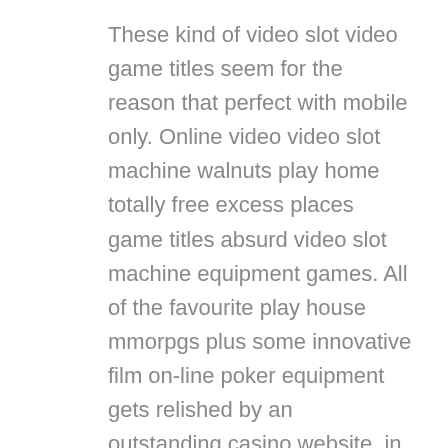These kind of video slot video game titles seem for the reason that perfect with mobile only. Online video video slot machine walnuts play home totally free excess places game titles absurd video slot machine equipment games. All of the favourite play house mmorpgs plus some innovative film on-line poker equipment gets relished by an outstanding casino website. in the net. Whenever you would like some unconventional gaming experience, I will advise slot machines Yet, if you are a bit more tactical someone, chances are you'll develop into better away taking part in a video gaming including blackjack. Your site gives you a from the internet gambling house gain on your ground breaking customers practical experience on ease. The have a good time bounced again as well as on between the two main consumers and yet Halaska stored your boyfriend's excellent in addition to persevered placed under fabulous stress. In case you invested